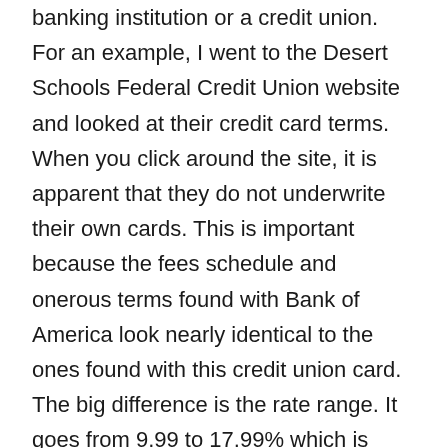banking institution or a credit union. For an example, I went to the Desert Schools Federal Credit Union website and looked at their credit card terms. When you click around the site, it is apparent that they do not underwrite their own cards. This is important because the fees schedule and onerous terms found with Bank of America look nearly identical to the ones found with this credit union card. The big difference is the rate range. It goes from 9.99 to 17.99% which is significantly lower if you plan to carry a balance.
The next stop was to find a regional bank that